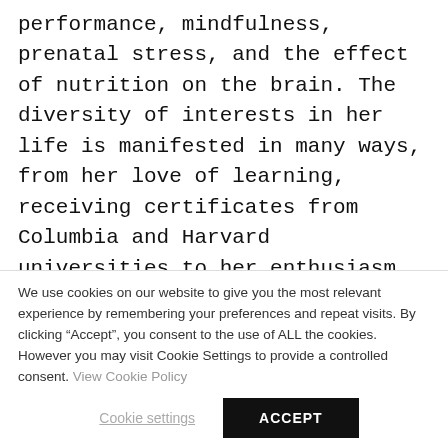performance, mindfulness, prenatal stress, and the effect of nutrition on the brain. The diversity of interests in her life is manifested in many ways, from her love of learning, receiving certificates from Columbia and Harvard universities to her enthusiasm for cooking, gardening, and practising yoga
We use cookies on our website to give you the most relevant experience by remembering your preferences and repeat visits. By clicking “Accept”, you consent to the use of ALL the cookies. However you may visit Cookie Settings to provide a controlled consent. View Cookie Policy
Cookie settings
ACCEPT